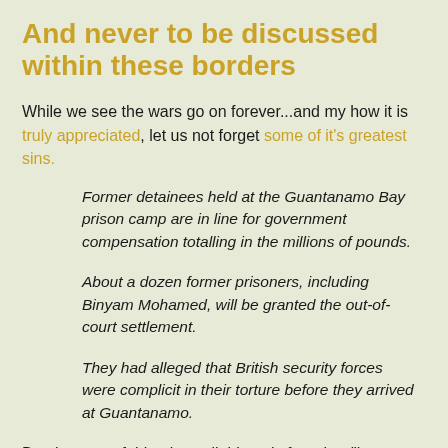And never to be discussed within these borders
While we see the wars go on forever...and my how it is truly appreciated, let us not forget some of it's greatest sins.
Former detainees held at the Guantanamo Bay prison camp are in line for government compensation totalling in the millions of pounds.
About a dozen former prisoners, including Binyam Mohamed, will be granted the out-of-court settlement.
They had alleged that British security forces were complicit in their torture before they arrived at Guantanamo.
But that sort of thing is available only for other "less